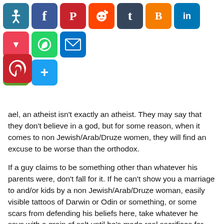[Figure (infographic): Social media sharing icon buttons: accessibility, Facebook, Pinterest, Reddit, Tumblr, Blogger, LinkedIn, Pocket, WhatsApp, Email, Print, Share, Pinterest large]
ael, an atheist isn't exactly an atheist.  They may say that they don't believe in a god, but for some reason, when it comes to non Jewish/Arab/Druze women, they will find an excuse to be worse than the orthodox.
If a guy claims to be something other than whatever his parents were, don't fall for it.  If he can't show you a marriage to and/or kids by a non Jewish/Arab/Druze woman, easily visible tattoos of Darwin or Odin or something, or some scars from defending his beliefs here, take whatever he says with a grain of salt until he's made real sacrifices for you.  Even tattoos are a maybe.
It's trendy right now for dudes to claim to be Buddhist or Taoist.  It's been a thing here among intellectuals and pseudo intellectuals for